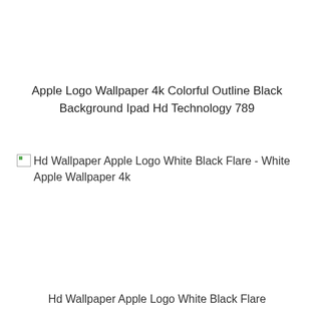Apple Logo Wallpaper 4k Colorful Outline Black Background Ipad Hd Technology 789
[Figure (other): Broken image placeholder with alt text: Hd Wallpaper Apple Logo White Black Flare - White Apple Wallpaper 4k]
Hd Wallpaper Apple Logo White Black Flare